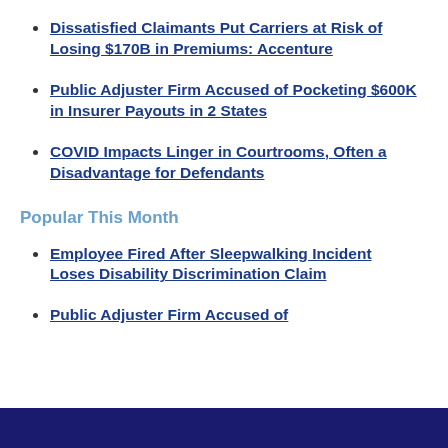Dissatisfied Claimants Put Carriers at Risk of Losing $170B in Premiums: Accenture
Public Adjuster Firm Accused of Pocketing $600K in Insurer Payouts in 2 States
COVID Impacts Linger in Courtrooms, Often a Disadvantage for Defendants
Popular This Month
Employee Fired After Sleepwalking Incident Loses Disability Discrimination Claim
Public Adjuster Firm Accused of